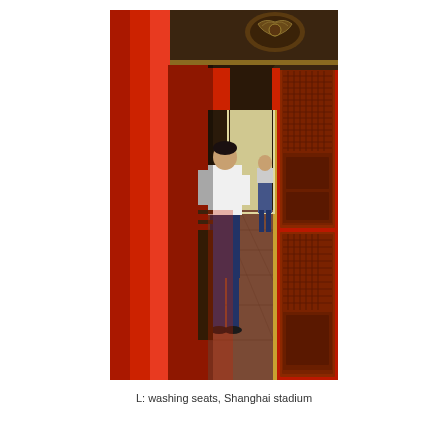[Figure (photo): A narrow corridor of a traditional Chinese building (likely the Forbidden City or a similar imperial structure) with bright red walls and columns on the left, ornate dark wooden lattice doors on the right, a dark wooden beam ceiling with decorative gold-trimmed panels above, and two people standing in the corridor looking toward a bright doorway at the far end. The floor is tiled with brownish-red tiles.]
L: washing seats, Shanghai stadium